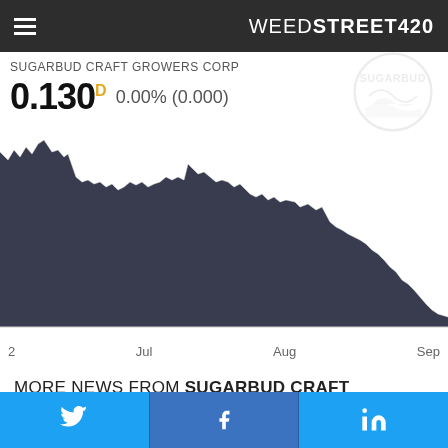WEEDSTREET420
SUGARBUD CRAFT GROWERS CORP
0.130 D  0.00% (0.000)
[Figure (area-chart): Descending area chart showing stock price decline from approximately 0.45 to 0.130 between early summer and September]
MORE NEWS FROM SUGARBUD CRAFT GROWERS
[Figure (infographic): Social sharing bar with Twitter, Facebook, and LinkedIn buttons]